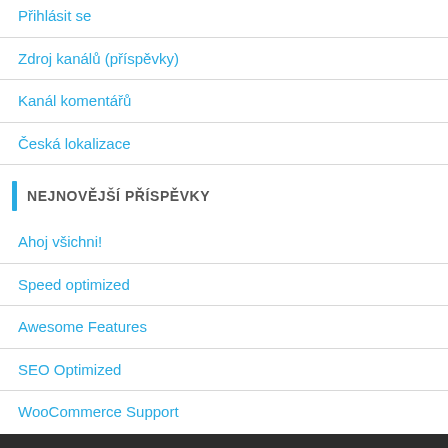Přihlásit se
Zdroj kanálů (příspěvky)
Kanál komentářů
Česká lokalizace
NEJNOVĚJŠÍ PŘÍSPĚVKY
Ahoj všichni!
Speed optimized
Awesome Features
SEO Optimized
WooCommerce Support